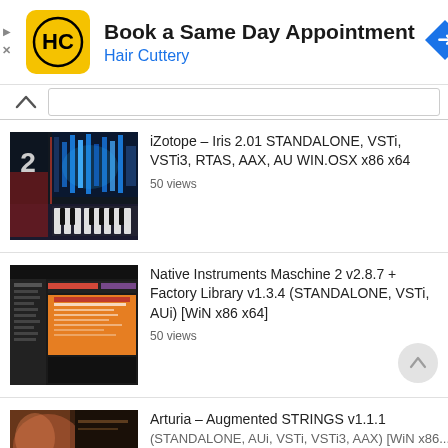[Figure (screenshot): Hair Cuttery advertisement banner with yellow logo showing HC letters, text 'Book a Same Day Appointment' and 'Hair Cuttery' in blue, with a blue navigation arrow icon on the right]
iZotope – Iris 2.01 STANDALONE, VSTi, VSTi3, RTAS, AAX, AU WIN.OSX x86 x64
50 views
[Figure (screenshot): Thumbnail of iZotope Iris 2 synthesizer software interface showing dark blue spectral display with keyboard]
Native Instruments Maschine 2 v2.8.7 + Factory Library v1.3.4 (STANDALONE, VSTi, AUi) [WiN x86 x64]
50 views
[Figure (screenshot): Thumbnail of Native Instruments Maschine 2 software showing dark interface with orange splash screen]
Arturia – Augmented STRINGS v1.1.1
[Figure (screenshot): Partial thumbnail of Arturia Augmented STRINGS software]